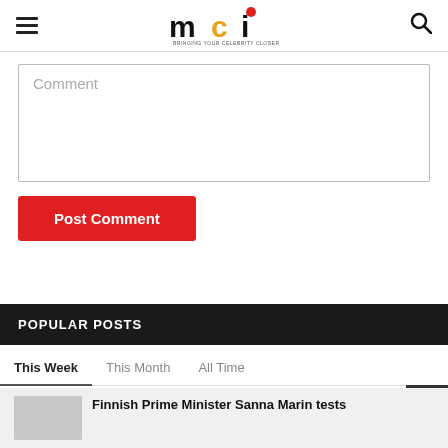MCI - Bringing your celebrity closer to you
Comment
Post Comment
POPULAR POSTS
This Week
This Month
All Time
Finnish Prime Minister Sanna Marin tests